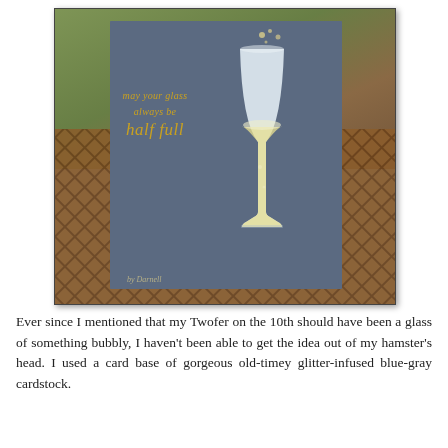[Figure (photo): A handmade greeting card with a dark blue-gray cardstock background featuring a white champagne flute silhouette filled with pale yellow liquid and small bubble embellishments near the top. Gold script text on the left reads 'may your glass always be half full'. The card is photographed outdoors on a wooden surface with garden in the background. A small signature 'by Darnell' appears at the bottom left of the card.]
Ever since I mentioned that my Twofer on the 10th should have been a glass of something bubbly, I haven't been able to get the idea out of my hamster's head. I used a card base of gorgeous old-timey glitter-infused blue-gray cardstock. The HERO die cut a Champagne Glass die cut ATI and